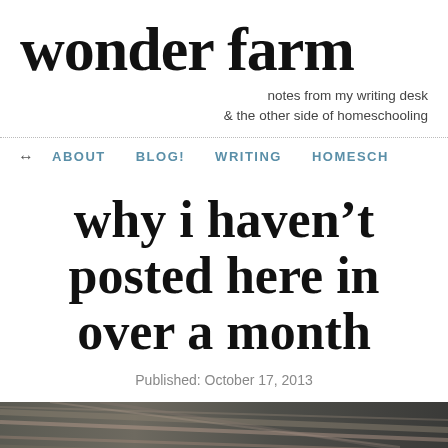wonder farm
notes from my writing desk
& the other side of homeschooling
→ ABOUT   BLOG!   WRITING   HOMESCH
why i haven't posted here in over a month
Published: October 17, 2013
[Figure (photo): Blurred motion photo of what appears to be a book or notebook, with streaking lines suggesting fast movement, muted tones of grey, brown, and pink.]